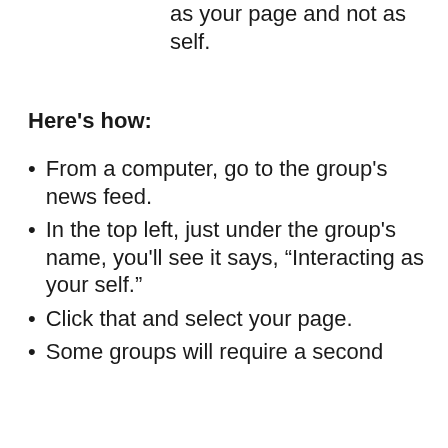as your page and not as self.
Here's how:
From a computer, go to the group's news feed.
In the top left, just under the group's name, you'll see it says, “Interacting as your self.”
Click that and select your page.
Some groups will require a second